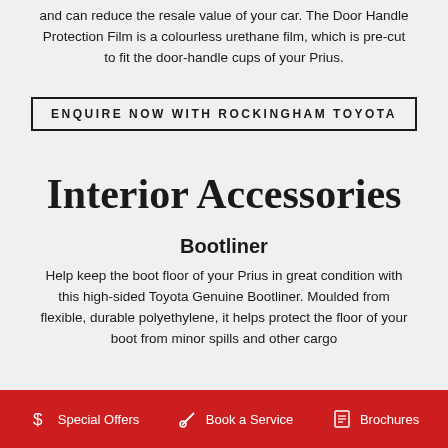and can reduce the resale value of your car. The Door Handle Protection Film is a colourless urethane film, which is pre-cut to fit the door-handle cups of your Prius.
ENQUIRE NOW WITH ROCKINGHAM TOYOTA
Interior Accessories
Bootliner
Help keep the boot floor of your Prius in great condition with this high-sided Toyota Genuine Bootliner. Moulded from flexible, durable polyethylene, it helps protect the floor of your boot from minor spills and other cargo
Special Offers   Book a Service   Brochures